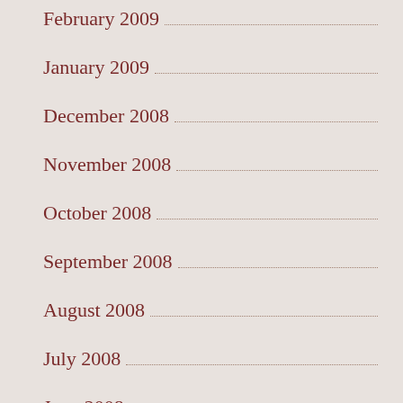February 2009
January 2009
December 2008
November 2008
October 2008
September 2008
August 2008
July 2008
June 2008
May 2008
April 2008
March 2008